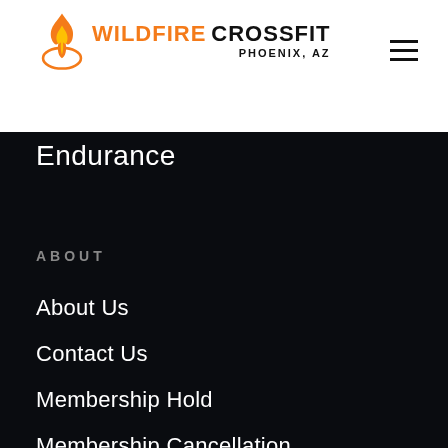[Figure (logo): Wildfire CrossFit Phoenix, AZ logo with orange flame icon]
Endurance
ABOUT
About Us
Contact Us
Membership Hold
Membership Cancellation
Member Login